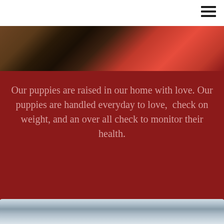[Figure (photo): Cropped bottom portion of a photo showing people sitting on what appears to be a wooden floor or deck, with a person in a red/pink jacket visible on the right side]
Our puppies are raised in our home with love. Our puppies are handled everyday to love,  check on weight, and an over all check to monitor their health.
[Figure (photo): Bottom portion of a photo showing a foggy or misty landscape, possibly mountains or hills in soft blue-grey tones]